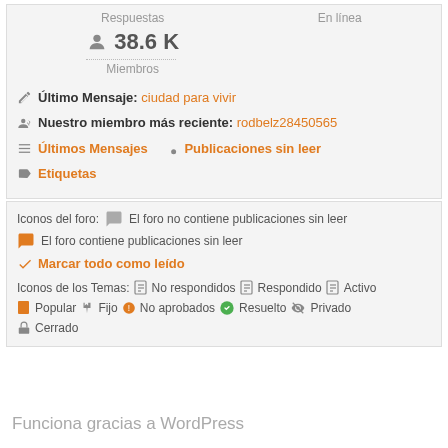Respuestas
En línea
38.6 K
Miembros
Último Mensaje: ciudad para vivir
Nuestro miembro más reciente: rodbelz28450565
Últimos Mensajes
Publicaciones sin leer
Etiquetas
Iconos del foro:   El foro no contiene publicaciones sin leer
El foro contiene publicaciones sin leer
Marcar todo como leído
Iconos de los Temas:  No respondidos  Respondido  Activo
Popular  Fijo  No aprobados  Resuelto  Privado
Cerrado
Funciona gracias a WordPress